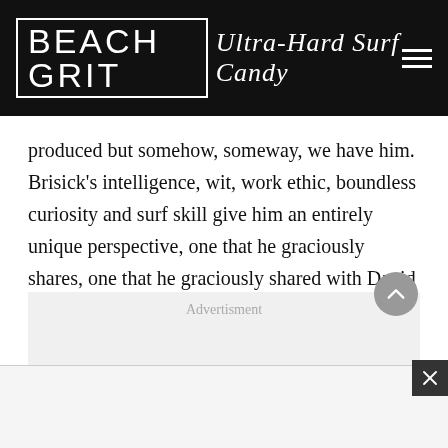BEACH GRIT Ultra-Hard Surf Candy
produced but somehow, someway, we have him. Brisick’s intelligence, wit, work ethic, boundless curiosity and surf skill give him an entirely unique perspective, one that he graciously shares, one that he graciously shared with David Lee Scales and me when he stopped by for weekly chat.
[Figure (other): Advertisement placeholder box with light grey background and 'Advertisment' label text]
[Figure (other): Bottom advertisement bar with close button (X) in lower right corner]